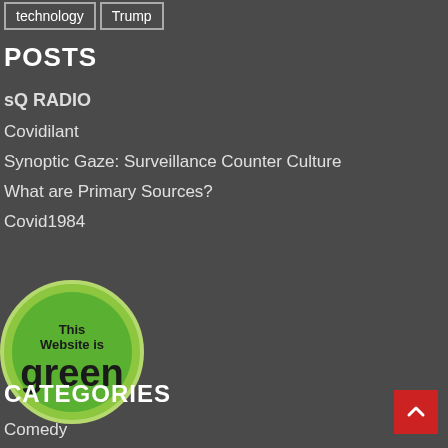technology
Trump
POSTS
sQ RADIO
Covidilant
Synoptic Gaze: Surveillance Counter Culture
What are Primary Sources?
Covid1984
[Figure (logo): Green circle badge with text 'This Website is green']
CATEGORIES
Comedy
Satire